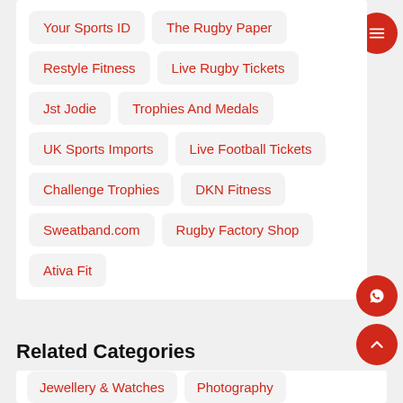Your Sports ID
The Rugby Paper
Restyle Fitness
Live Rugby Tickets
Jst Jodie
Trophies And Medals
UK Sports Imports
Live Football Tickets
Challenge Trophies
DKN Fitness
Sweatband.com
Rugby Factory Shop
Ativa Fit
Related Categories
Jewellery & Watches
Photography